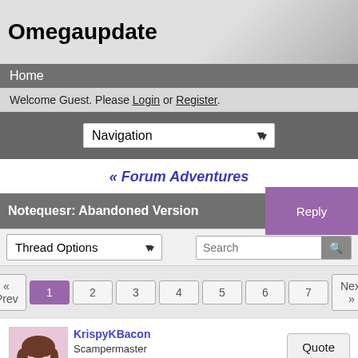Omegaupdate
Home
Welcome Guest. Please Login or Register.
Navigation (dropdown)
« Forum Adventures
Notequesr: Abandoned Version
Reply
Thread Options (dropdown) | Search
« Prev 1 2 3 4 5 6 7 Next »
KrispyKBacon
Scampermaster
★
May 1, 2016 at 2:57am
Quote